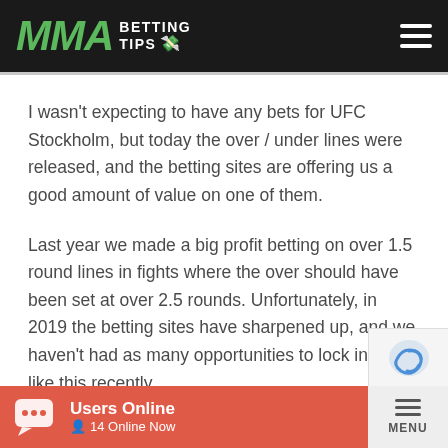MMA BETTING TIPS
I wasn't expecting to have any bets for UFC Stockholm, but today the over / under lines were released, and the betting sites are offering us a good amount of value on one of them.
Last year we made a big profit betting on over 1.5 round lines in fights where the over should have been set at over 2.5 rounds. Unfortunately, in 2019 the betting sites have sharpened up, and we haven't had as many opportunities to lock in bets like this recently.
Users Online · 14 Online Now · MENU